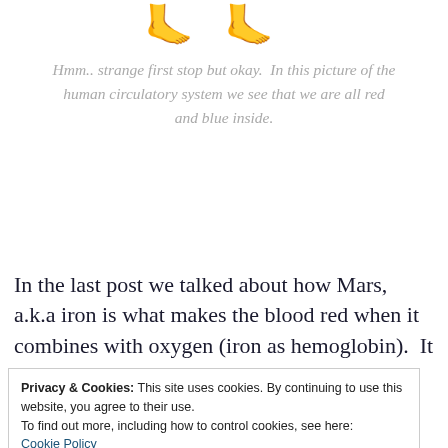[Figure (illustration): Two feet emoji icons side by side]
Hmm.. strange first stop but okay.  In this picture of the human circulatory system we see that we are all red and blue inside.
In the last post we talked about how Mars, a.k.a iron is what makes the blood red when it combines with oxygen (iron as hemoglobin).  It is this oxygenated red blood that travels through the arteries and nourishes all
Privacy & Cookies: This site uses cookies. By continuing to use this website, you agree to their use.
To find out more, including how to control cookies, see here:
Cookie Policy
Close and accept